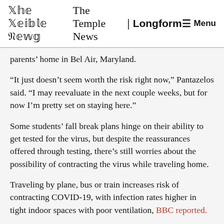The Temple News | Longform — Menu
parents' home in Bel Air, Maryland.
“It just doesn’t seem worth the risk right now,” Pantazelos said. “I may reevaluate in the next couple weeks, but for now I’m pretty set on staying here.”
Some students’ fall break plans hinge on their ability to get tested for the virus, but despite the reassurances offered through testing, there’s still worries about the possibility of contracting the virus while traveling home.
Traveling by plane, bus or train increases risk of contracting COVID-19, with infection rates higher in tight indoor spaces with poor ventilation, BBC reported.